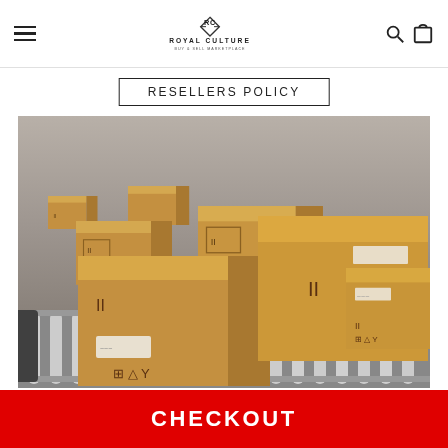Royal Culture Buy & Sell Marketplace (logo header with hamburger menu, search and cart icons)
RESELLERS POLICY
[Figure (photo): Photo of multiple cardboard shipping boxes on a warehouse conveyor belt roller system, tan/brown boxes with shipping labels and fragile symbols, industrial setting with blurred background.]
CHECKOUT